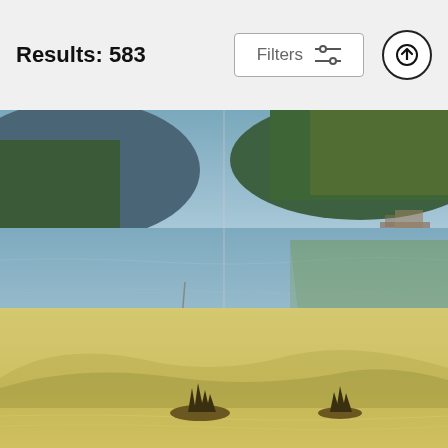Results: 583
[Figure (photo): Scenic lake photo showing calm water with a small boat, forested hillsides and reflections in the water - Great Long Pond a5875]
Great Long Pond a5875
Greg Hartford
$17
[Figure (photo): Golden hour lake scene with misty mountains in background and two small tree-covered rocky islands in calm yellow-tinted water]